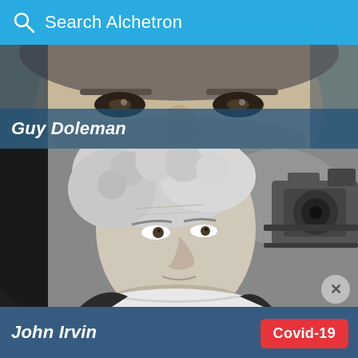Search Alchetron
[Figure (photo): Close-up black and white photo of a man's face (eyes area), partially cropped]
Guy Doleman
[Figure (photo): Black and white photo of John Irvin, a man with curly hair looking to the side near a film camera]
John Irvin
Covid-19